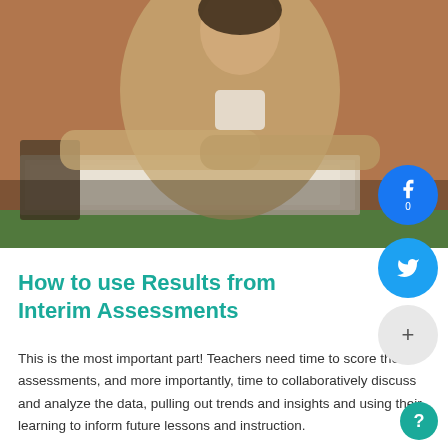[Figure (photo): A woman in a beige blazer leaning over a desk covered with stacked papers and binders, in a classroom setting with brick walls in the background. Social media share buttons (Facebook, Twitter) and a plus button are overlaid on the right side.]
How to use Results from Interim Assessments
This is the most important part! Teachers need time to score the assessments, and more importantly, time to collaboratively discuss and analyze the data, pulling out trends and insights and using their learning to inform future lessons and instruction.